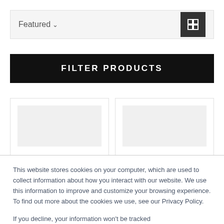Featured
FILTER PRODUCTS
[Figure (screenshot): Two product card placeholders with grey image areas]
This website stores cookies on your computer, which are used to collect information about how you interact with our website. We use this information to improve and customize your browsing experience. To find out more about the cookies we use, see our Privacy Policy.
If you decline, your information won't be tracked
Accept
Decline